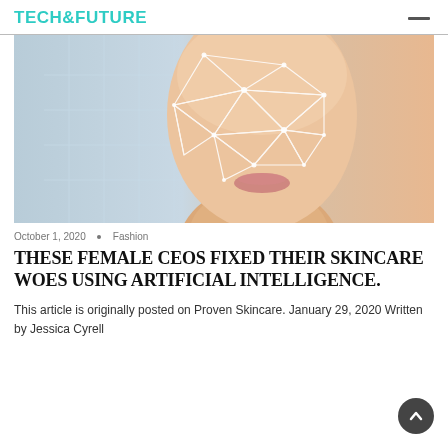TECH&FUTURE
[Figure (photo): Close-up photo of a woman's face with geometric AI facial recognition overlay lines on the left half, against a light blue-grey background]
October 1, 2020  •  Fashion
THESE FEMALE CEOS FIXED THEIR SKINCARE WOES USING ARTIFICIAL INTELLIGENCE.
This article is originally posted on Proven Skincare. January 29, 2020 Written by Jessica Cyrell